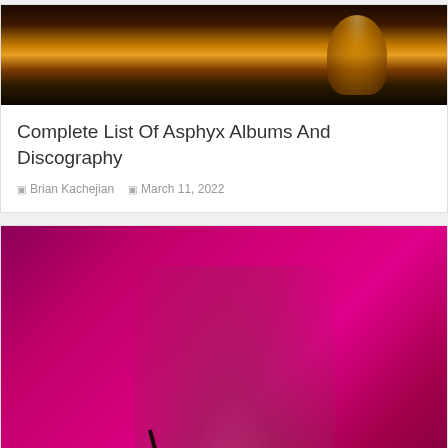[Figure (photo): Concert photo of Asphyx metal band performing on dark stage with warm orange/yellow stage lighting]
Complete List Of Asphyx Albums And Discography
Brian Kachejian   March 11, 2022
[Figure (photo): Concert photo of Incubus singer performing with microphone against bright magenta/pink background]
Complete List Of Incubus Albums And Discography